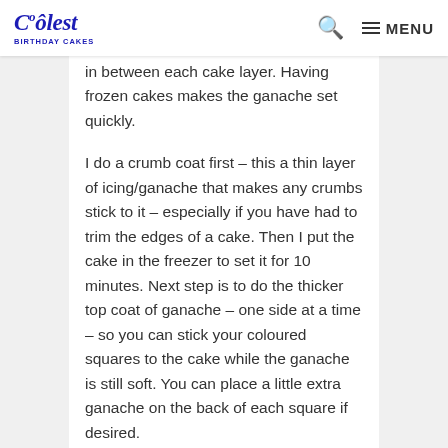Coolest Birthday Cakes — MENU
in between each cake layer. Having frozen cakes makes the ganache set quickly.
I do a crumb coat first – this a thin layer of icing/ganache that makes any crumbs stick to it – especially if you have had to trim the edges of a cake. Then I put the cake in the freezer to set it for 10 minutes. Next step is to do the thicker top coat of ganache – one side at a time – so you can stick your coloured squares to the cake while the ganache is still soft. You can place a little extra ganache on the back of each square if desired.